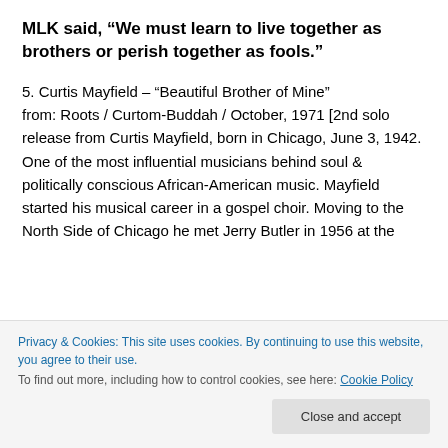MLK said, “We must learn to live together as brothers or perish together as fools.”
5. Curtis Mayfield – “Beautiful Brother of Mine” from: Roots / Curtom-Buddah / October, 1971 [2nd solo release from Curtis Mayfield, born in Chicago, June 3, 1942. One of the most influential musicians behind soul & politically conscious African-American music. Mayfield started his musical career in a gospel choir. Moving to the North Side of Chicago he met Jerry Butler in 1956 at the
Privacy & Cookies: This site uses cookies. By continuing to use this website, you agree to their use.
To find out more, including how to control cookies, see here: Cookie Policy
politically charged songwriting. After leaving The